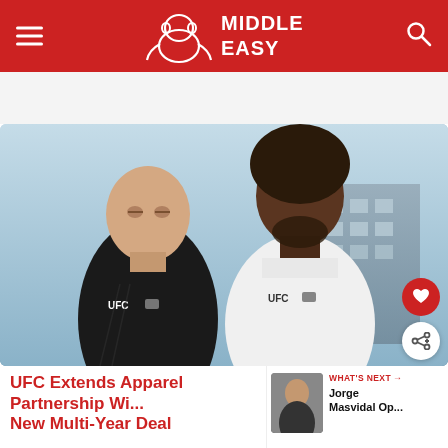MiddleEasy
[Figure (photo): Two male MMA fighters wearing UFC Venum branded apparel — one in a black compression shirt on the left and one in a white t-shirt on the right — standing outdoors in front of a building.]
UFC Extends Apparel Partnership Wi... New Multi-Year Deal
WHAT'S NEXT → Jorge Masvidal Op...